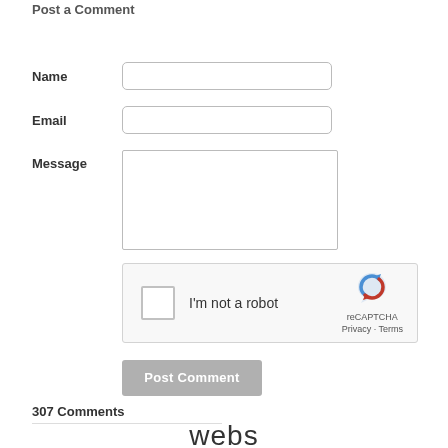Post a Comment
Name [input field]
Email [input field]
Message [textarea field]
[Figure (other): reCAPTCHA widget: checkbox labeled 'I'm not a robot' with reCAPTCHA logo, Privacy and Terms links]
Post Comment [button]
307 Comments
webs